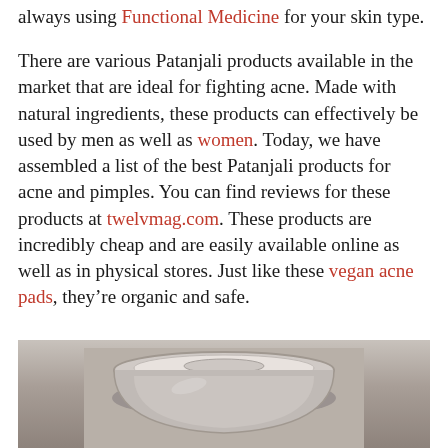always using Functional Medicine for your skin type.
There are various Patanjali products available in the market that are ideal for fighting acne. Made with natural ingredients, these products can effectively be used by men as well as women. Today, we have assembled a list of the best Patanjali products for acne and pimples. You can find reviews for these products at twelvmag.com. These products are incredibly cheap and are easily available online as well as in physical stores. Just like these vegan acne pads, they’re organic and safe.
[Figure (photo): Close-up photo of a round ceramic or metal bowl/container on a grey surface, viewed from above at a slight angle.]